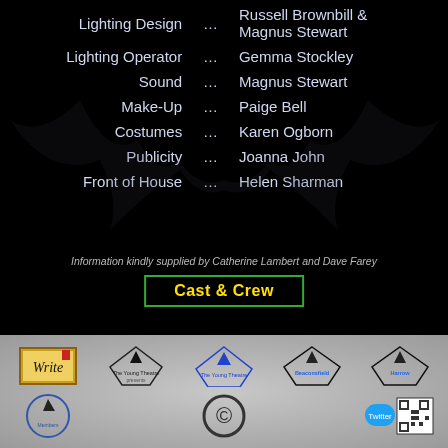Lighting Design … Russell Brownbill & Magnus Stewart
Lighting Operator … Gemma Stockley
Sound … Magnus Stewart
Make-Up … Paige Bell
Costumes … Karen Ogborn
Publicity … Joanna John
Front of House … Helen Sharman
Information kindly supplied by Catherine Lambert and Dave Farey
Cast & Crew
[Figure (logo): Row of theatre and organization logos including Write, The Young Theatre presents, The Young Theatre, Beaconsfield, Harrow, and others with QR code and Twitter icon]